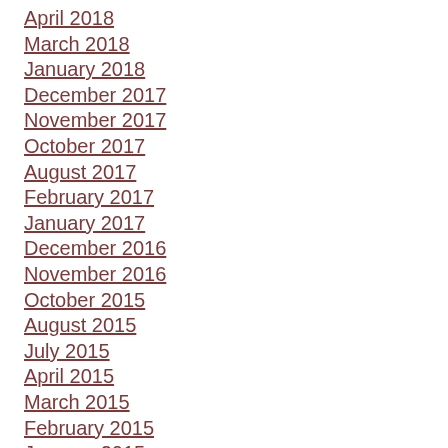April 2018
March 2018
January 2018
December 2017
November 2017
October 2017
August 2017
February 2017
January 2017
December 2016
November 2016
October 2015
August 2015
July 2015
April 2015
March 2015
February 2015
January 2015
December 2014